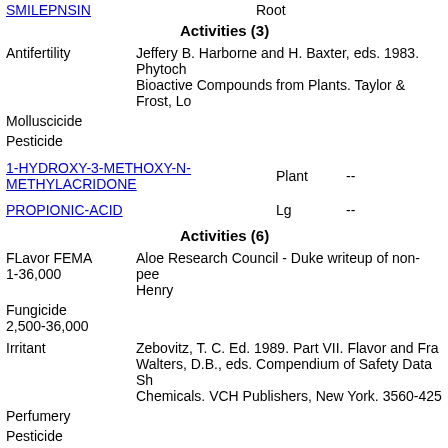SMILEPNSIN   Root
Activities (3)
Antifertility   Jeffery B. Harborne and H. Baxter, eds. 1983. Phytochemical Dictionary. A Handbook of Bioactive Compounds from Plants. Taylor & Frost, Lo...
Molluscicide
Pesticide
1-HYDROXY-3-METHOXY-N-METHYLACRIDONE   Plant   --
PROPIONIC-ACID   Lg   --
Activities (6)
FLavor FEMA 1-36,000   Aloe Research Council - Duke writeup of non-peer... Henry
Fungicide 2,500-36,000
Irritant   Zebovitz, T. C. Ed. 1989. Part VII. Flavor and Frag... Walters, D.B., eds. Compendium of Safety Data Sh... Chemicals. VCH Publishers, New York. 3560-4253
Perfumery
Pesticide
Rubefacient   Zebovitz, T. C. Ed. 1989. Part VII. Flavor and Frag... Walters, D.B., eds. Compendium of Safety Data Sh... Chemicals. VCH Publishers, New York. 3560-4253